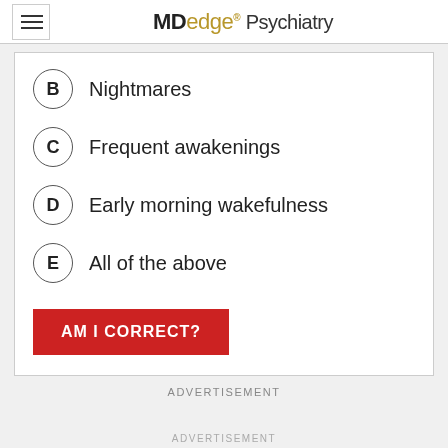MDedge Psychiatry
B  Nightmares
C  Frequent awakenings
D  Early morning wakefulness
E  All of the above
AM I CORRECT?
ADVERTISEMENT
ADVERTISEMENT